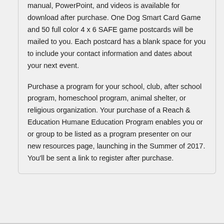manual, PowerPoint, and videos is available for download after purchase. One Dog Smart Card Game and 50 full color 4 x 6 SAFE game postcards will be mailed to you. Each postcard has a blank space for you to include your contact information and dates about your next event.
Purchase a program for your school, club, after school program, homeschool program, animal shelter, or religious organization. Your purchase of a Reach & Education Humane Education Program enables you or or group to be listed as a program presenter on our new resources page, launching in the Summer of 2017. You'll be sent a link to register after purchase.